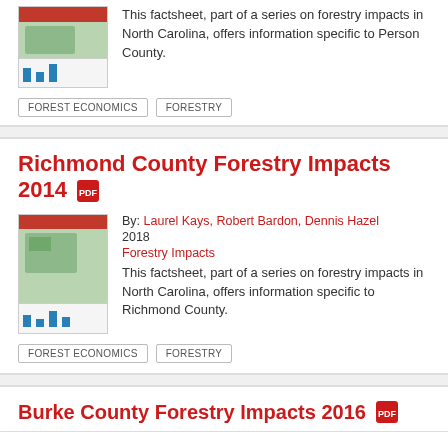[Figure (illustration): Thumbnail image of a forestry factsheet document for Person County]
This factsheet, part of a series on forestry impacts in North Carolina, offers information specific to Person County.
FOREST ECONOMICS
FORESTRY
Richmond County Forestry Impacts 2014
[Figure (illustration): Thumbnail image of a forestry factsheet document for Richmond County]
By: Laurel Kays, Robert Bardon, Dennis Hazel 2018 Forestry Impacts
This factsheet, part of a series on forestry impacts in North Carolina, offers information specific to Richmond County.
FOREST ECONOMICS
FORESTRY
Burke County Forestry Impacts 2016